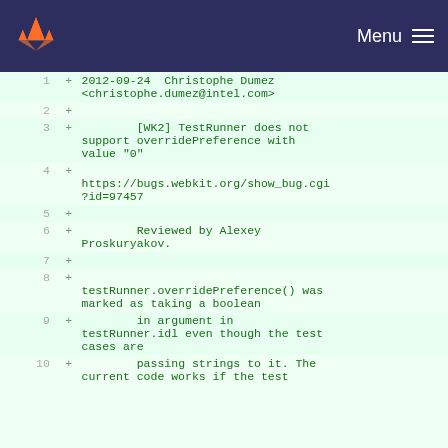GitLab — Menu
[Figure (screenshot): Git diff view showing added lines in a code commit. Lines 1-10 are shown with green '+' markers and line numbers, on a light green background. Content shows a git commit message for a WebKit bug fix related to testRunner.overridePreference() not supporting boolean values with strings.]